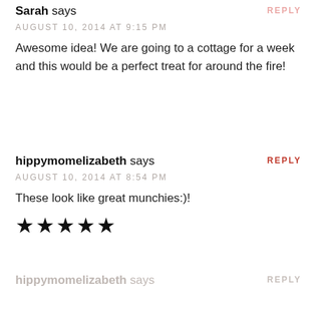Sarah says
AUGUST 10, 2014 AT 9:15 PM
Awesome idea! We are going to a cottage for a week and this would be a perfect treat for around the fire!
REPLY
hippymomelizabeth says
AUGUST 10, 2014 AT 8:54 PM
These look like great munchies:)!
★★★★★
REPLY
hippymomelizabeth says